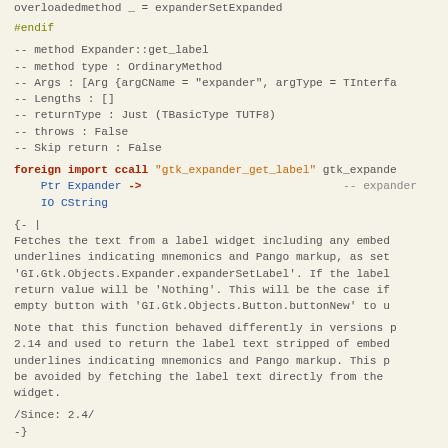overloadedmethod _ = expanderSetExpanded
#endif
-- method Expander::get_label
-- method type : OrdinaryMethod
-- Args : [Arg {argCName = "expander", argType = TInterfa
-- Lengths : []
-- returnType : Just (TBasicType TUTF8)
-- throws : False
-- Skip return : False
foreign import ccall "gtk_expander_get_label" gtk_expande
    Ptr Expander ->                              -- expander
    IO CString
{- |
Fetches the text from a label widget including any embed
underlines indicating mnemonics and Pango markup, as set
'GI.Gtk.Objects.Expander.expanderSetLabel'. If the label
return value will be 'Nothing'. This will be the case if
empty button with 'GI.Gtk.Objects.Button.buttonNew' to u
Note that this function behaved differently in versions p
2.14 and used to return the label text stripped of embed
underlines indicating mnemonics and Pango markup. This p
be avoided by fetching the label text directly from the
widget.
/Since: 2.4/
-}